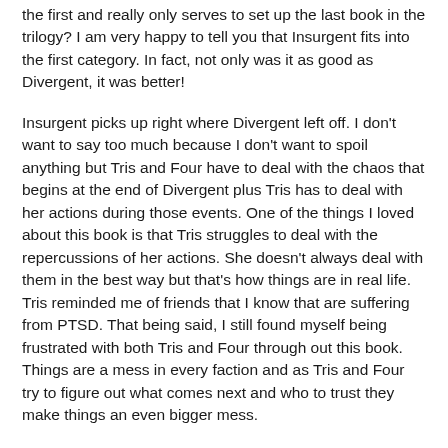the first and really only serves to set up the last book in the trilogy? I am very happy to tell you that Insurgent fits into the first category. In fact, not only was it as good as Divergent, it was better!
Insurgent picks up right where Divergent left off. I don't want to say too much because I don't want to spoil anything but Tris and Four have to deal with the chaos that begins at the end of Divergent plus Tris has to deal with her actions during those events. One of the things I loved about this book is that Tris struggles to deal with the repercussions of her actions. She doesn't always deal with them in the best way but that's how things are in real life. Tris reminded me of friends that I know that are suffering from PTSD. That being said, I still found myself being frustrated with both Tris and Four through out this book. Things are a mess in every faction and as Tris and Four try to figure out what comes next and who to trust they make things an even bigger mess.
Even though I was frustrated I still loved every minute of this story. There are moments that made me swoon (Four